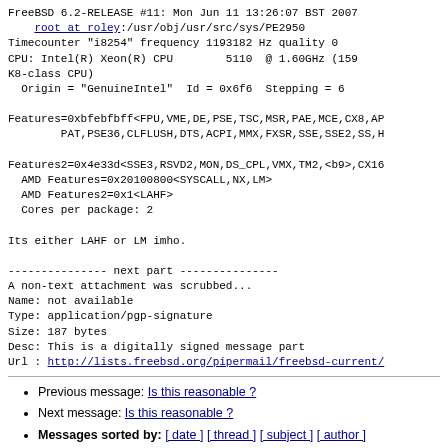FreeBSD 6.2-RELEASE #11: Mon Jun 11 13:26:07 BST 2007
    root at roley:/usr/obj/usr/src/sys/PE2950
Timecounter "i8254" frequency 1193182 Hz quality 0
CPU: Intel(R) Xeon(R) CPU        5110  @ 1.60GHz (159
K8-class CPU)
  Origin = "GenuineIntel"  Id = 0x6f6  Stepping = 6

Features=0xbfebfbff<FPU,VME,DE,PSE,TSC,MSR,PAE,MCE,CX8,AP
        PAT,PSE36,CLFLUSH,DTS,ACPI,MMX,FXSR,SSE,SSE2,SS,H

Features2=0x4e33d<SSE3,RSVD2,MON,DS_CPL,VMX,TM2,<b9>,CX16
  AMD Features=0x20100800<SYSCALL,NX,LM>
  AMD Features2=0x1<LAHF>
  Cores per package: 2

Its either LAHF or LM imho.

--------------- next part ---------------
A non-text attachment was scrubbed...
Name: not available
Type: application/pgp-signature
Size: 187 bytes
Desc: This is a digitally signed message part
Url : http://lists.freebsd.org/pipermail/freebsd-current/
Previous message: Is this reasonable ?
Next message: Is this reasonable ?
Messages sorted by: [ date ] [ thread ] [ subject ] [ author ]